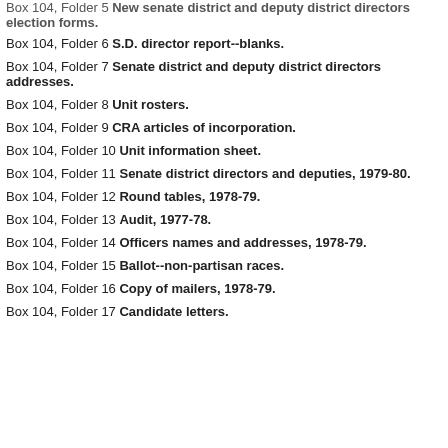Box 104, Folder 5  New senate district and deputy district directors election forms.
Box 104, Folder 6  S.D. director report--blanks.
Box 104, Folder 7  Senate district and deputy district directors addresses.
Box 104, Folder 8  Unit rosters.
Box 104, Folder 9  CRA articles of incorporation.
Box 104, Folder 10  Unit information sheet.
Box 104, Folder 11  Senate district directors and deputies, 1979-80.
Box 104, Folder 12  Round tables, 1978-79.
Box 104, Folder 13  Audit, 1977-78.
Box 104, Folder 14  Officers names and addresses, 1978-79.
Box 104, Folder 15  Ballot--non-partisan races.
Box 104, Folder 16  Copy of mailers, 1978-79.
Box 104, Folder 17  Candidate letters.